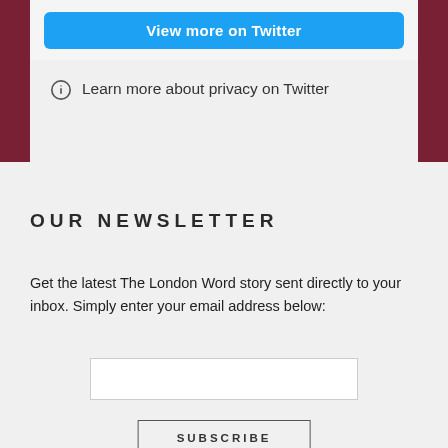[Figure (screenshot): Twitter 'View more on Twitter' blue button inside a light gray widget panel]
Learn more about privacy on Twitter
OUR NEWSLETTER
Get the latest The London Word story sent directly to your inbox. Simply enter your email address below:
[Figure (other): Email input text field (white rectangle)]
[Figure (other): SUBSCRIBE button with border]
FOLLOW US